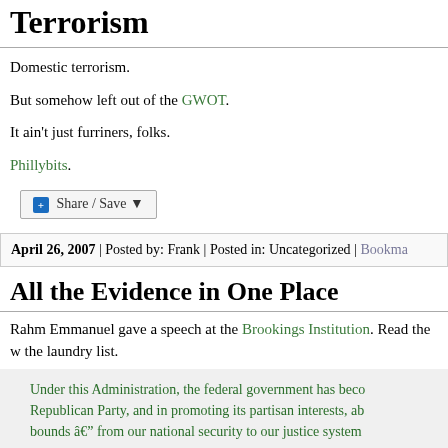Terrorism
Domestic terrorism.
But somehow left out of the GWOT.
It ain’t just furriners, folks.
Phillybits.
Share / Save
April 26, 2007 | Posted by: Frank | Posted in: Uncategorized | Bookma…
All the Evidence in One Place
Rahm Emmanuel gave a speech at the Brookings Institution. Read the w… the laundry list.
Under this Administration, the federal government has beco… Republican Party, and in promoting its partisan interests, ab… bounds â€” from our national security to our justice system…